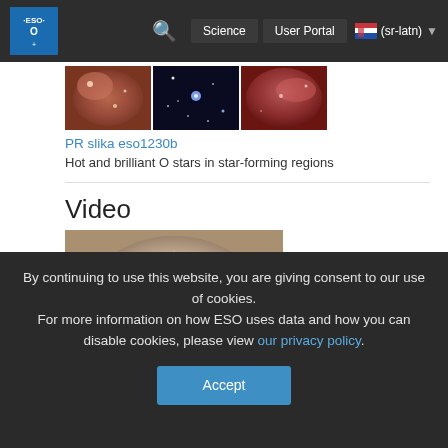ESO — Science | User Portal | (sr-latn)
[Figure (photo): Three thumbnail images of nebulae and star-forming regions]
PR slika eso1230b
Hot and brilliant O stars in star-forming regions
Video
[Figure (photo): Thumbnail still from ESO video eso1230a showing nebula impression]
PR video eso1230a
Artistic impression of the evolution of a hot high-mass binary star
By continuing to use this website, you are giving consent to our use of cookies.
For more information on how ESO uses data and how you can disable cookies, please view our privacy policy.
Accept